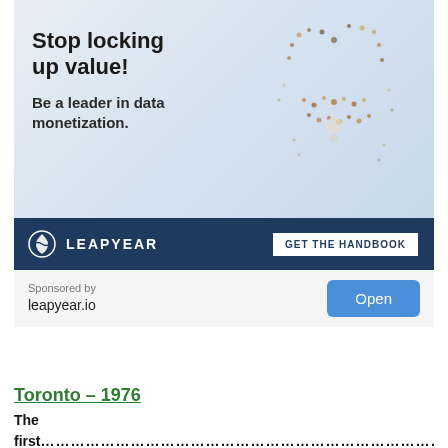[Figure (illustration): Advertisement banner for Leapyear. Top section shows bold text 'Stop locking up value! Be a leader in data monetization.' with an aerial crowd photo forming a padlock shape on the right. Dark navy bar shows Leapyear logo and 'GET THE HANDBOOK' button. Below: 'Sponsored by leapyear.io' with an 'Open' button.]
Toronto – 1976
The first... [body text continues below]